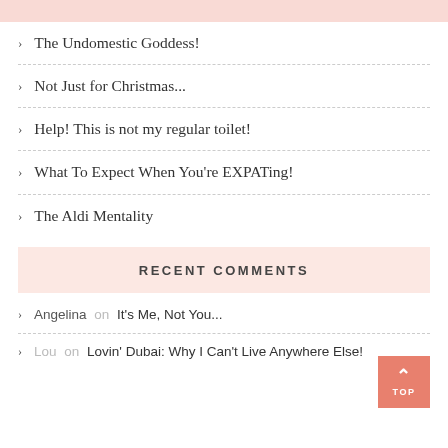The Undomestic Goddess!
Not Just for Christmas...
Help! This is not my regular toilet!
What To Expect When You're EXPATing!
The Aldi Mentality
RECENT COMMENTS
Angelina on It's Me, Not You...
Lou on Lovin' Dubai: Why I Can't Live Anywhere Else!